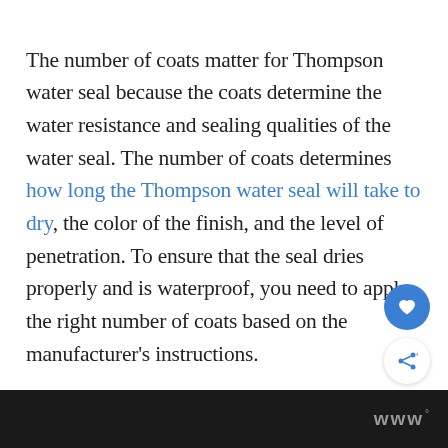The number of coats matter for Thompson water seal because the coats determine the water resistance and sealing qualities of the water seal. The number of coats determines how long the Thompson water seal will take to dry, the color of the finish, and the level of penetration. To ensure that the seal dries properly and is waterproof, you need to apply the right number of coats based on the manufacturer's instructions.
w°